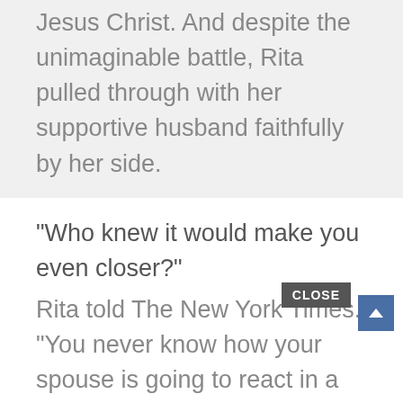Jesus Christ. And despite the unimaginable battle, Rita pulled through with her supportive husband faithfully by her side.
“Who knew it would make you even closer?” Rita told The New York Times. “You never know how your spouse is going to react in a